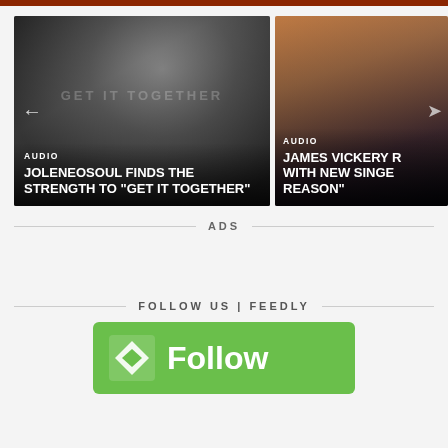LATEST POSTS
[Figure (photo): Black and white photo of a woman, card with AUDIO category label and title: JOLENEOSOUL FINDS THE STRENGTH TO GET IT TOGETHER]
[Figure (photo): Color photo showing a person with tattoo, card with AUDIO category label and partial title: JAMES VICKERY R... WITH NEW SINGE... REASON]
ADS
FOLLOW US | FEEDLY
[Figure (logo): Green Feedly Follow button with Feedly logo icon and Follow text]